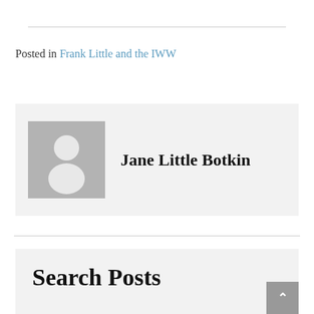Posted in Frank Little and the IWW
[Figure (illustration): Author avatar placeholder with grey background and white silhouette figure]
Jane Little Botkin
Search Posts